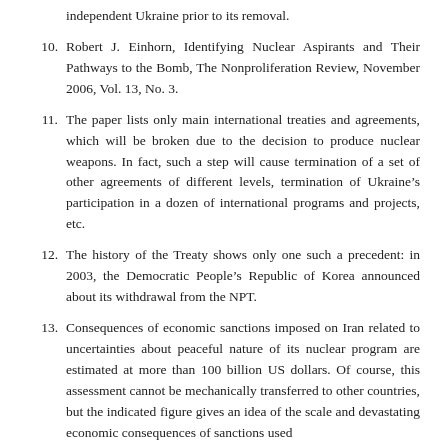independent Ukraine prior to its removal.
10. Robert J. Einhorn, Identifying Nuclear Aspirants and Their Pathways to the Bomb, The Nonproliferation Review, November 2006, Vol. 13, No. 3.
11. The paper lists only main international treaties and agreements, which will be broken due to the decision to produce nuclear weapons. In fact, such a step will cause termination of a set of other agreements of different levels, termination of Ukraine’s participation in a dozen of international programs and projects, etc.
12. The history of the Treaty shows only one such a precedent: in 2003, the Democratic People’s Republic of Korea announced about its withdrawal from the NPT.
13. Consequences of economic sanctions imposed on Iran related to uncertainties about peaceful nature of its nuclear program are estimated at more than 100 billion US dollars. Of course, this assessment cannot be mechanically transferred to other countries, but the indicated figure gives an idea of the scale and devastating economic consequences of sanctions used